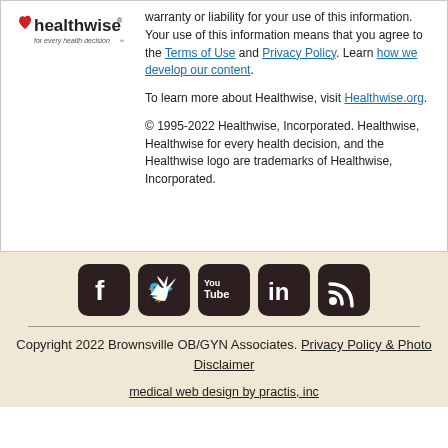[Figure (logo): Healthwise logo with red heart symbol and tagline 'for every health decision']
warranty or liability for your use of this information. Your use of this information means that you agree to the Terms of Use and Privacy Policy. Learn how we develop our content.
To learn more about Healthwise, visit Healthwise.org.
© 1995-2022 Healthwise, Incorporated. Healthwise, Healthwise for every health decision, and the Healthwise logo are trademarks of Healthwise, Incorporated.
[Figure (infographic): Social media icons: Facebook, Twitter, YouTube, LinkedIn, RSS feed — dark brown rounded square buttons]
Copyright 2022 Brownsville OB/GYN Associates. Privacy Policy & Photo Disclaimer
medical web design by practis, inc